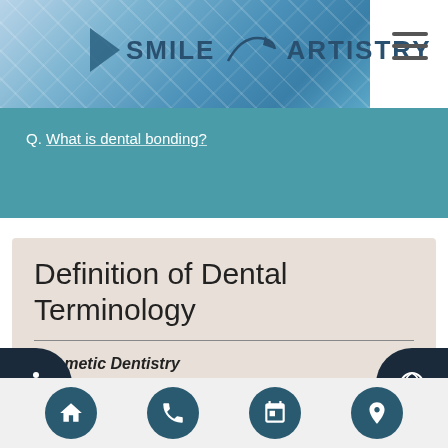[Figure (logo): Smile Artistry dental practice logo with blue diamond pattern background, arrow graphic, and swoosh element]
Q. What is dental bonding?
Definition of Dental Terminology
Cosmetic Dentistry
Cosmetic dentistry is generally used to refer to any dental work that improves the appearance (though not necessarily the function) of a person's teeth,